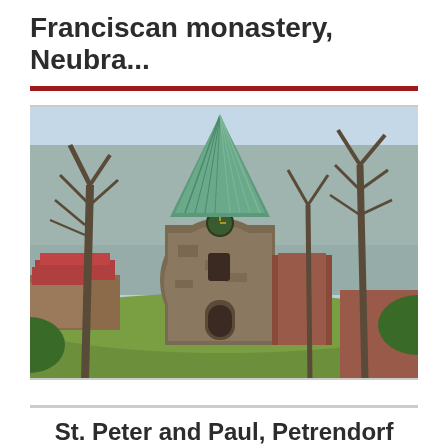Franciscan monastery, Neubra...
[Figure (photo): Photograph of a Franciscan monastery church building with a distinctive round stone tower topped with a tall green copper spire/steeple. The building is surrounded by bare deciduous trees, with a green lawn in the foreground and red-roofed farm buildings visible to the left. Blue sky in background.]
St. Peter and Paul, Petrendorf